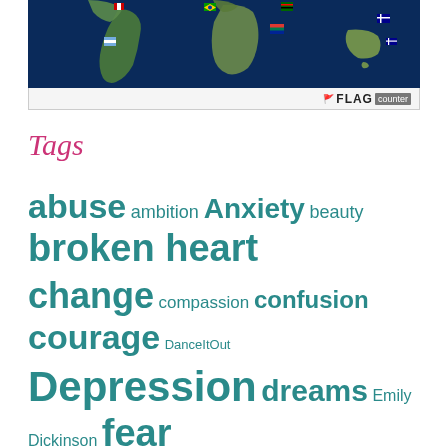[Figure (map): World map with flag counter widget showing flags from various countries including Peru, Brazil, Zimbabwe, South Africa, Argentina, Australia and others, with a blue ocean background and a Flag Counter watermark at the bottom right.]
Tags
abuse ambition Anxiety beauty broken heart change compassion confusion courage DanceItOut Depression dreams Emily Dickinson fear freedom Friends grief Hope identity individuality inspiration JustPassingitAlong